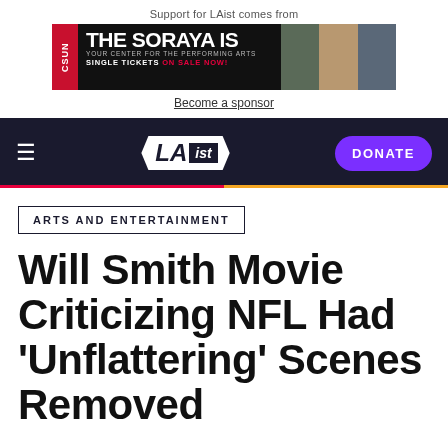Support for LAist comes from
[Figure (photo): CSUN / The Soraya Is - Your Center for the Performing Arts. Single Tickets On Sale Now! Advertisement banner with performer photos.]
Become a sponsor
LAist — DONATE
ARTS AND ENTERTAINMENT
Will Smith Movie Criticizing NFL Had 'Unflattering' Scenes Removed